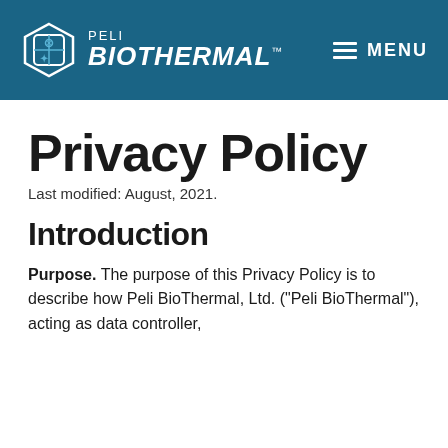PELI BIOTHERMAL™  MENU
Privacy Policy
Last modified: August, 2021.
Introduction
Purpose. The purpose of this Privacy Policy is to describe how Peli BioThermal, Ltd. ("Peli BioThermal"), acting as data controller,